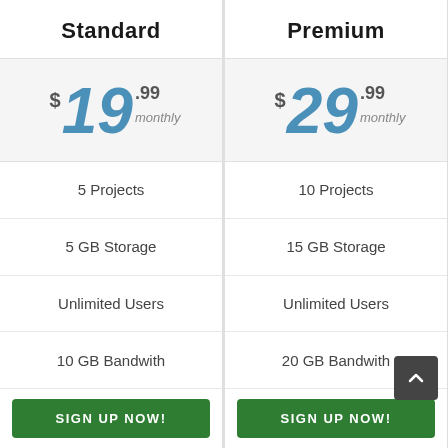Standard
$19.99 monthly
5 Projects
5 GB Storage
Unlimited Users
10 GB Bandwith
SIGN UP NOW!
Premium
$29.99 monthly
10 Projects
15 GB Storage
Unlimited Users
20 GB Bandwith
SIGN UP NOW!